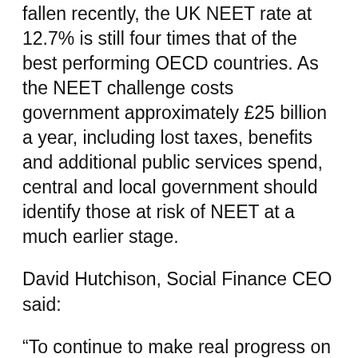fallen recently, the UK NEET rate at 12.7% is still four times that of the best performing OECD countries. As the NEET challenge costs government approximately £25 billion a year, including lost taxes, benefits and additional public services spend, central and local government should identify those at risk of NEET at a much earlier stage.
David Hutchison, Social Finance CEO said:
“To continue to make real progress on youth unemployment, we must be able to identify, through solid evidence, who the most vulnerable are. Our analysis shows that by using a rich data source and analysing it through different lenses, we can shed new light